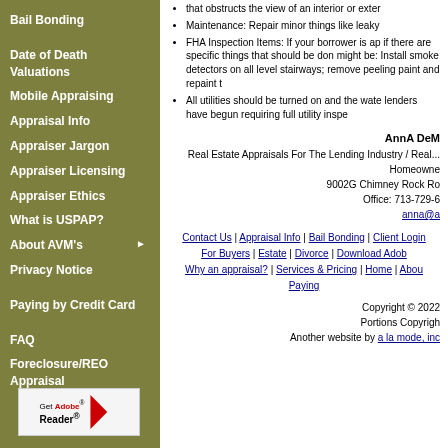Bail Bonding
Date of Death Valuations
Mobile Appraising
Appraisal Info
Appraiser Jargon
Appraiser Licensing
Appraiser Ethics
What is USPAP?
About AVM's
Privacy Notice
Paying by Credit Card
FAQ
Foreclosure/REO Appraisal
that obstructs the view of an interior or exter...
Maintenance: Repair minor things like leaky...
FHA Inspection Items: If your borrower is ap... if there are specific things that should be don... might be: Install smoke detectors on all level... stairways; remove peeling paint and repaint t...
All utilities should be turned on and the wate... lenders have begun requiring full utility inspe...
AnnA DeM...
Real Estate Appraisals For The Lending Industry / Real... Homeowne...
9002G Chimney Rock Ro...
Office: 713-729-6...
anna@a...
Contact Us | Appraisal Info | Bail Bonding | Client Login... For Buyers | Estate | Divorce | Download Adob... Why an appraisal? | Services & Pricing | Home | Abou... Paying...
Copyright © 2022
Portions Copyrigh...
Another website by a la mode, inc...
[Figure (logo): Get Adobe Reader logo with red chevron]